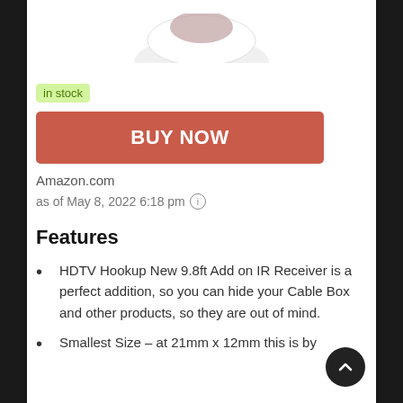[Figure (photo): Partial product image at top of page, showing bottom portion of a product on white background]
in stock
BUY NOW
Amazon.com
as of May 8, 2022 6:18 pm ⓘ
Features
HDTV Hookup New 9.8ft Add on IR Receiver is a perfect addition, so you can hide your Cable Box and other products, so they are out of mind.
Smallest Size – at 21mm x 12mm this is by